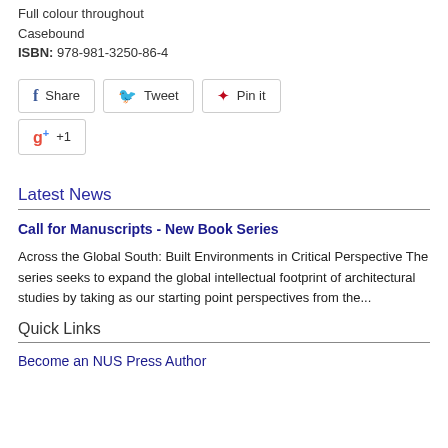Full colour throughout
Casebound
ISBN: 978-981-3250-86-4
[Figure (infographic): Social sharing buttons: Facebook Share, Twitter Tweet, Pinterest Pin it, Google+ +1]
Latest News
Call for Manuscripts - New Book Series
Across the Global South: Built Environments in Critical Perspective The series seeks to expand the global intellectual footprint of architectural studies by taking as our starting point perspectives from the...
Quick Links
Become an NUS Press Author